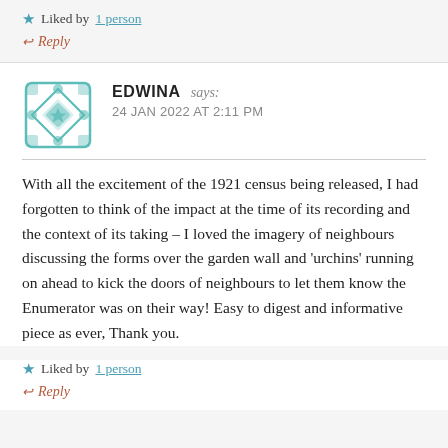★ Liked by 1 person
↩ Reply
EDWINA says: 24 JAN 2022 AT 2:11 PM
With all the excitement of the 1921 census being released, I had forgotten to think of the impact at the time of its recording and the context of its taking – I loved the imagery of neighbours discussing the forms over the garden wall and 'urchins' running on ahead to kick the doors of neighbours to let them know the Enumerator was on their way! Easy to digest and informative piece as ever, Thank you.
★ Liked by 1 person
↩ Reply